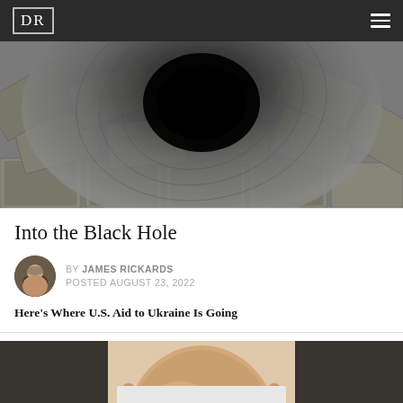DR
[Figure (photo): Black and white overhead photo of many US dollar bills swirling into a dark vortex/black hole in the center]
Into the Black Hole
BY JAMES RICKARDS
POSTED AUGUST 23, 2022
Here's Where U.S. Aid to Ukraine Is Going
[Figure (photo): Partial photo of a bald man's head, cropped at bottom of page]